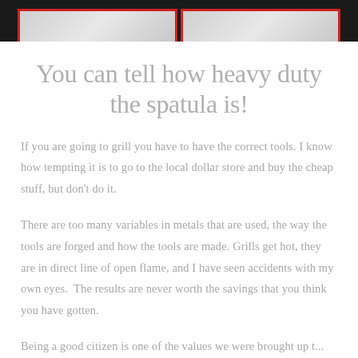[Figure (photo): Top strip showing partial image panels with red borders on dark background]
You can tell how heavy duty the spatula is!
If you are going to grill you have to have the correct tools. I know how tempting it is to go to the local dollar store and buy the cheap stuff, but don't do it.
There are too many variables in metals that are used, the way the tools are forged and how the tools are made. Grills get hot, they are in direct line of open flame, and I have seen accidents with my own eyes. The results are never worth the savings that you think you have gotten.
Being a good citizen is one of the values we were brought up...